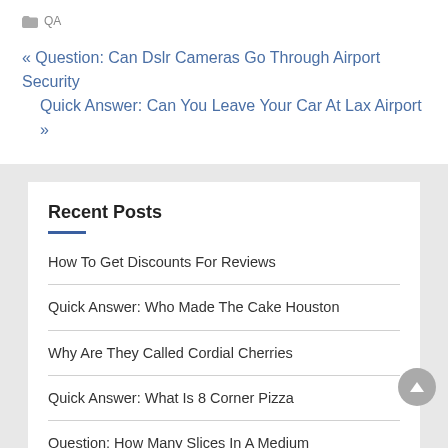QA
« Question: Can Dslr Cameras Go Through Airport Security
Quick Answer: Can You Leave Your Car At Lax Airport »
Recent Posts
How To Get Discounts For Reviews
Quick Answer: Who Made The Cake Houston
Why Are They Called Cordial Cherries
Quick Answer: What Is 8 Corner Pizza
Question: How Many Slices In A Medium